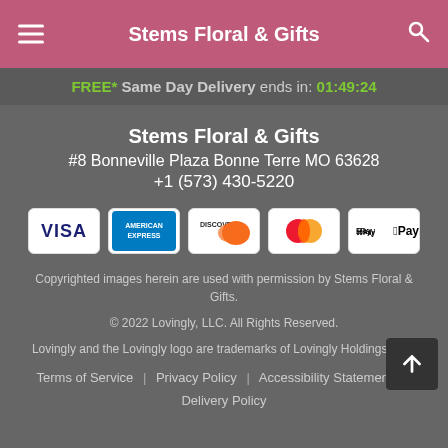Stems Floral & Gifts
FREE* Same Day Delivery ends in: 01:49:24
Stems Floral & Gifts
#8 Bonneville Plaza Bonne Terre MO 63628
+1 (573) 430-5220
[Figure (logo): Payment method logos: VISA, American Express, Discover, Mastercard, Apple Pay]
Copyrighted images herein are used with permission by Stems Floral & Gifts.
© 2022 Lovingly, LLC. All Rights Reserved.
Lovingly and the Lovingly logo are trademarks of Lovingly Holdings, LLC
Terms of Service | Privacy Policy | Accessibility Statement | Delivery Policy